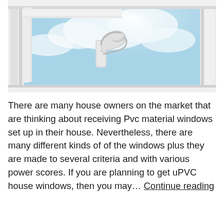[Figure (photo): Close-up photo of a white PVC/uPVC window handle and frame, with blue sky and clouds visible through the open window glass panel.]
There are many house owners on the market that are thinking about receiving Pvc material windows set up in their house. Nevertheless, there are many different kinds of of the windows plus they are made to several criteria and with various power scores. If you are planning to get uPVC house windows, then you may… Continue reading